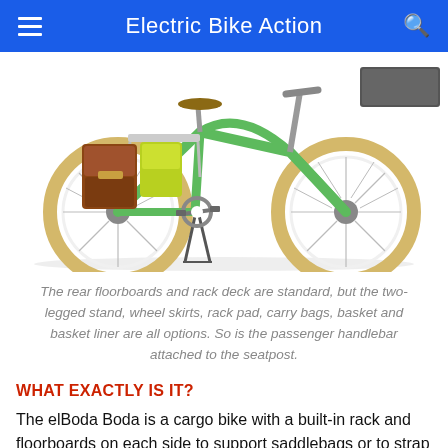Electric Bike Action
[Figure (photo): A green electric cargo bicycle (elBoda Boda) with tan/yellow tires, rear rack with brown saddlebags and a yellow cargo bag, two-legged kickstand, and a front basket visible at upper right. The bike is shown on a white background in a 3/4 view.]
The rear floorboards and rack deck are standard, but the two-legged stand, wheel skirts, rack pad, carry bags, basket and basket liner are all options. So is the passenger handlebar attached to the seatpost.
WHAT EXACTLY IS IT?
The elBoda Boda is a cargo bike with a built-in rack and floorboards on each side to support saddlebags or to strap boxes to. There are also options for front baskets, including a heavy-duty frame-mount model (it doesn't turn with the front